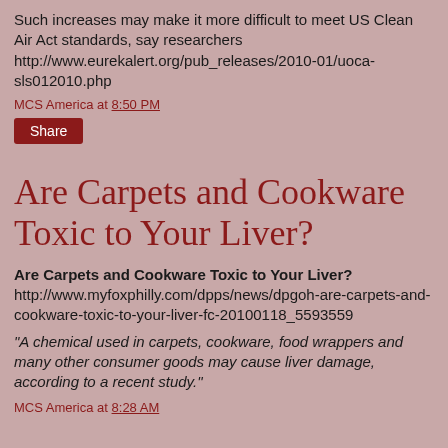Such increases may make it more difficult to meet US Clean Air Act standards, say researchers http://www.eurekalert.org/pub_releases/2010-01/uoca-sls012010.php
MCS America at 8:50 PM
Share
Are Carpets and Cookware Toxic to Your Liver?
Are Carpets and Cookware Toxic to Your Liver? http://www.myfoxphilly.com/dpps/news/dpgoh-are-carpets-and-cookware-toxic-to-your-liver-fc-20100118_5593559
"A chemical used in carpets, cookware, food wrappers and many other consumer goods may cause liver damage, according to a recent study."
MCS America at 8:28 AM